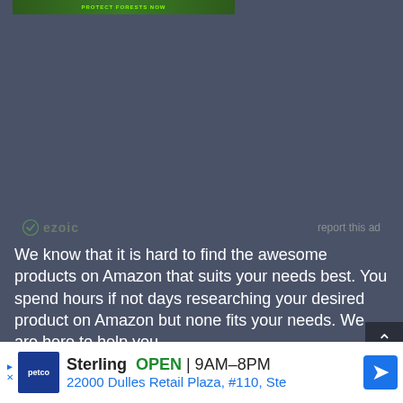[Figure (photo): Top banner image with green jungle/forest background and text 'PROTECT FORESTS NOW' in bright green]
[Figure (logo): Ezoic logo with green circular icon and 'ezoic' text in dark gray-green]
report this ad
We know that it is hard to find the awesome products on Amazon that suits your needs best. You spend hours if not days researching your desired product on Amazon but none fits your needs. We are here to help you.
Quick Links
[Figure (infographic): Petco advertisement banner showing Sterling store OPEN 9AM-8PM, address 22000 Dulles Retail Plaza, #110, Ste, with Petco logo and blue navigation arrow icon]